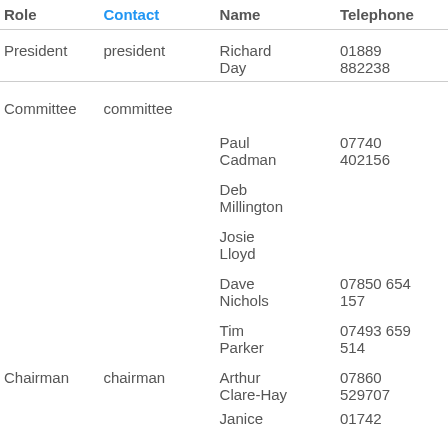| Role | Contact | Name | Telephone |
| --- | --- | --- | --- |
| President | president | Richard Day | 01889 882238 |
| Committee | committee | Paul Cadman | 07740 402156 |
|  |  | Deb Millington |  |
|  |  | Josie Lloyd |  |
|  |  | Dave Nichols | 07850 654 157 |
|  |  | Tim Parker | 07493 659 514 |
| Chairman | chairman | Arthur Clare-Hay | 07860 529707 |
|  |  | Janice | 01742 |